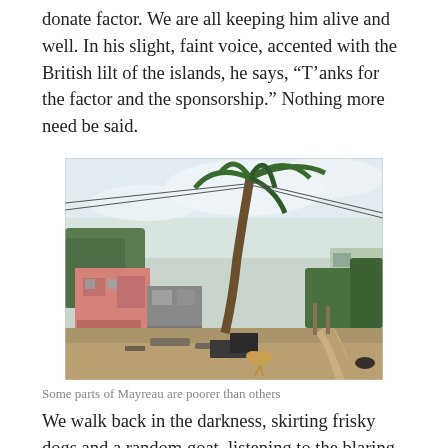donate factor. We are all keeping him alive and well. In his slight, faint voice, accented with the British lilt of the islands, he says, “T’anks for the factor and the sponsorship.” Nothing more need be said.
[Figure (photo): A photograph of a poor neighbourhood on Mayreau island. There are small pink and grey buildings, a tall palm tree bending in the wind with utility wires, a dirt path, scattered debris, a goat, and lush vegetation in the background under a pale sky.]
Some parts of Mayreau are poorer than others
We walk back in the darkness, skirting frisky dogs and a random goat, listening to the blaring and pounding of the karaoke bars nearby, stars above,